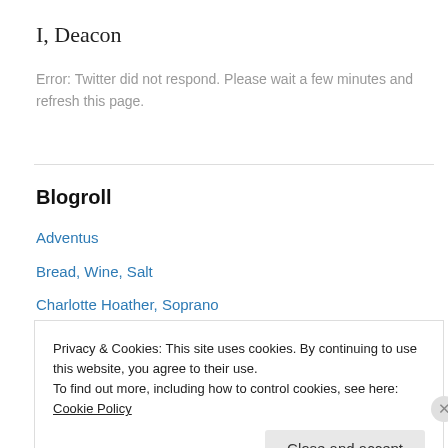I, Deacon
Error: Twitter did not respond. Please wait a few minutes and refresh this page.
Blogroll
Adventus
Bread, Wine, Salt
Charlotte Hoather, Soprano
Contemplation
Cooperstowners in Canada
Privacy & Cookies: This site uses cookies. By continuing to use this website, you agree to their use.
To find out more, including how to control cookies, see here: Cookie Policy